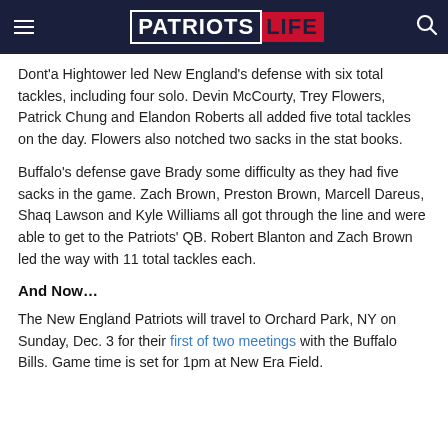Patriots Life
Dont'a Hightower led New England's defense with six total tackles, including four solo. Devin McCourty, Trey Flowers, Patrick Chung and Elandon Roberts all added five total tackles on the day. Flowers also notched two sacks in the stat books.
Buffalo's defense gave Brady some difficulty as they had five sacks in the game. Zach Brown, Preston Brown, Marcell Dareus, Shaq Lawson and Kyle Williams all got through the line and were able to get to the Patriots' QB. Robert Blanton and Zach Brown led the way with 11 total tackles each.
And Now...
The New England Patriots will travel to Orchard Park, NY on Sunday, Dec. 3 for their first of two meetings with the Buffalo Bills. Game time is set for 1pm at New Era Field.